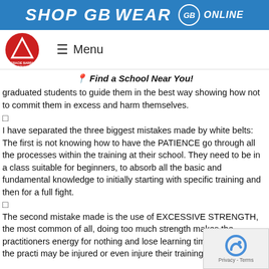SHOP GB WEAR GB ONLINE
[Figure (logo): Gracie Barra logo - red circle with triangle and text]
☰ Menu
📍 Find a School Near You!
graduated students to guide them in the best way showing how not to commit them in excess and harm themselves.
I have separated the three biggest mistakes made by white belts: The first is not knowing how to have the PATIENCE go through all the processes within the training at their school. They need to be in a class suitable for beginners, to absorb all the basic and fundamental knowledge to initially starting with specific training and then for a full fight.
The second mistake made is the use of EXCESSIVE STRENGTH, the most common of all, doing too much strength makes the practitioners energy for nothing and lose learning time. In addition, the practi may be injured or even injure their training partner.